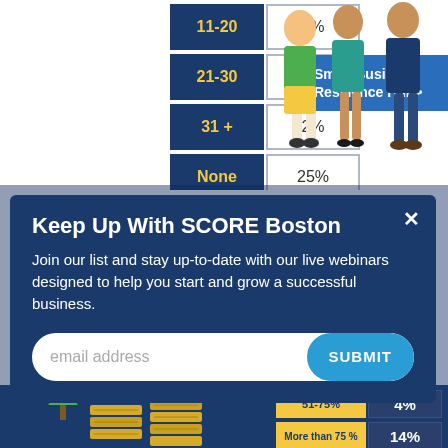| Category | Value |
| --- | --- |
| 11-20 | 5% |
| 21-30 | 4% |
| 31 + | 2% |
| None | 25% |
Small Business Resilience Hub>
Keep Up With SCORE Boston
Join our list and stay up-to-date with our live webinars designed to help you start and grow a successful business.
email address
SUBMIT
[Figure (illustration): Three illustrated people standing together in the top-right corner]
[Figure (illustration): Gold coin stacks illustration at the bottom left]
| Category | Value |
| --- | --- |
| 51-75% | 4% |
| More than 75% | 14% |